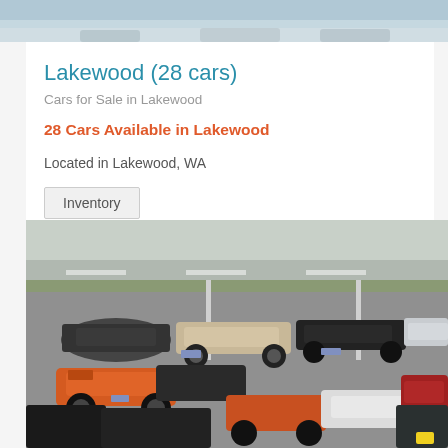[Figure (photo): Top portion of a car dealership exterior photo, cropped at top of page]
Lakewood (28 cars)
Cars for Sale in Lakewood
28 Cars Available in Lakewood
Located in Lakewood, WA
Inventory
[Figure (photo): Aerial/overhead view of a car dealership lot showing multiple cars parked in rows including an orange muscle car, beige sedan, black sedans, red car, and others on a paved lot with a road visible in the background]